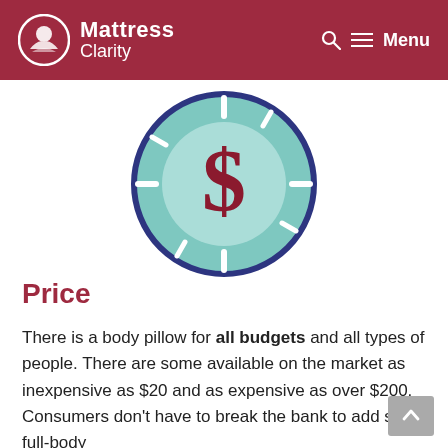Mattress Clarity — Menu
[Figure (illustration): A circular coin-like icon with a teal/mint background and dark navy border. The center circle is a lighter teal with a dark red dollar sign ($). White tick marks radiate outward around the circle like a clock or dial.]
Price
There is a body pillow for all budgets and all types of people. There are some available on the market as inexpensive as $20 and as expensive as over $200. Consumers don't have to break the bank to add some full-body